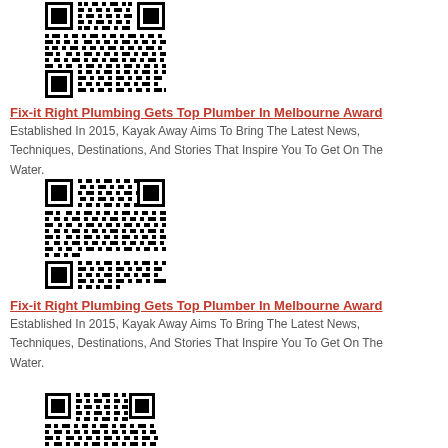[Figure (other): QR code image, first entry]
Fix-it Right Plumbing Gets Top Plumber In Melbourne Award
Established In 2015, Kayak Away Aims To Bring The Latest News, Techniques, Destinations, And Stories That Inspire You To Get On The Water.
[Figure (other): QR code image, second entry]
Fix-it Right Plumbing Gets Top Plumber In Melbourne Award
Established In 2015, Kayak Away Aims To Bring The Latest News, Techniques, Destinations, And Stories That Inspire You To Get On The Water.
[Figure (other): QR code image, third entry (partially visible)]